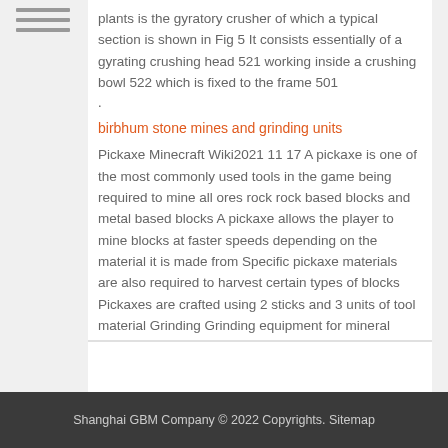plants is the gyratory crusher of which a typical section is shown in Fig 5 It consists essentially of a gyrating crushing head 521 working inside a crushing bowl 522 which is fixed to the frame 501 .
birbhum stone mines and grinding units
Pickaxe Minecraft Wiki2021 11 17 A pickaxe is one of the most commonly used tools in the game being required to mine all ores rock rock based blocks and metal based blocks A pickaxe allows the player to mine blocks at faster speeds depending on the material it is made from Specific pickaxe materials are also required to harvest certain types of blocks Pickaxes are crafted using 2 sticks and 3 units of tool material Grinding Grinding equipment for mineral processing The final fineness of the product mainly depends on the number of times the ore particles pass through the grinder The longer the grinding the smaller the particle size Separate crushing and grinding steps are necessary the ball mill can only receive the broken ore particle and then grind to the
Shanghai GBM Company © 2022 Copyrights. Sitemap